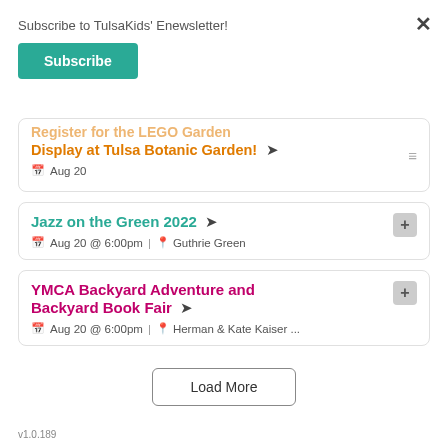Subscribe to TulsaKids' Enewsletter!
Subscribe
Display at Tulsa Botanic Garden!
Aug 20
Jazz on the Green 2022
Aug 20 @ 6:00pm | Guthrie Green
YMCA Backyard Adventure and Backyard Book Fair
Aug 20 @ 6:00pm | Herman & Kate Kaiser ...
Load More
v1.0.189